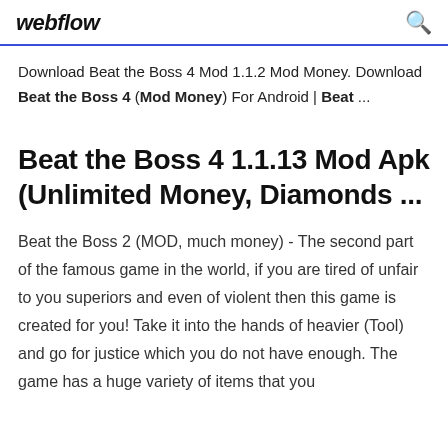webflow
Download Beat the Boss 4 Mod 1.1.2 Mod Money. Download Beat the Boss 4 (Mod Money) For Android | Beat ...
Beat the Boss 4 1.1.13 Mod Apk (Unlimited Money, Diamonds ...
Beat the Boss 2 (MOD, much money) - The second part of the famous game in the world, if you are tired of unfair to you superiors and even of violent then this game is created for you! Take it into the hands of heavier (Tool) and go for justice which you do not have enough. The game has a huge variety of items that you